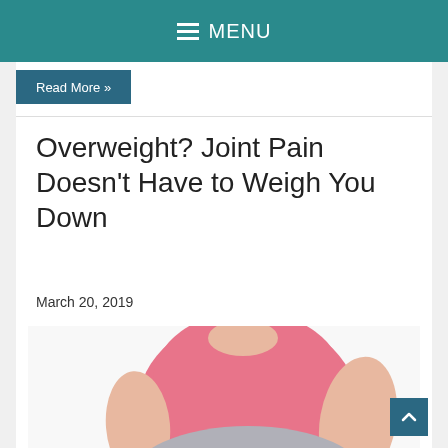MENU
Read More »
Overweight? Joint Pain Doesn't Have to Weigh You Down
March 20, 2019
[Figure (photo): Overweight person in pink top and grey pants measuring waist with yellow tape measure, sitting position, white background]